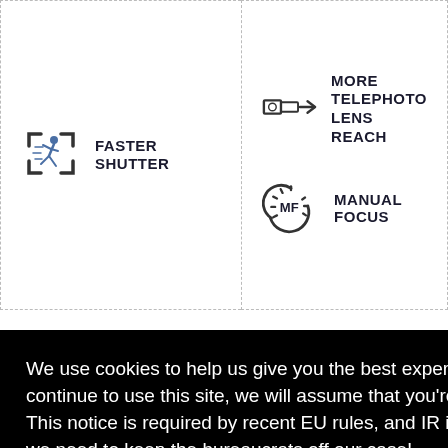[Figure (illustration): Icon of a person running inside a camera focus bracket — represents Faster Shutter feature]
FASTER SHUTTER
[Figure (illustration): Icon of a telephoto/zoom lens — represents More Telephoto Lens Reach feature]
MORE TELEPHOTO LENS REACH
[Figure (illustration): Icon of MF text with a gear arc — represents Manual Focus feature]
MANUAL FOCUS
We use cookies to help us give you the best experience on IR. If you continue to use this site, we will assume that you're happy with this. This notice is required by recent EU rules, and IR is read globally, so we need to keep the bureaucrats off our case!
Learn more
Got it!
COMPACT CAMERAS | COMPARE IMAGES